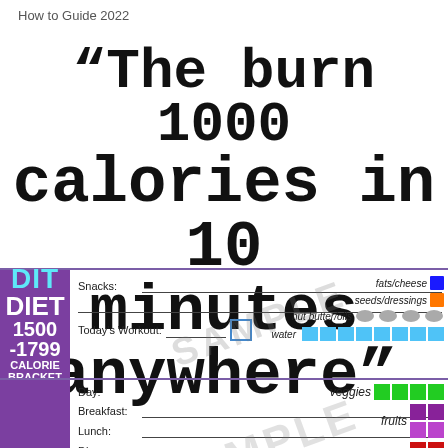How to Guide 2022
The "burn 1000 calories in 10 minutes anywhere"
[Figure (infographic): Diet tracker showing DIM DIET 1500-1799 CALORIE BRACKET with fields for Snacks, Today's Workout, Day, Breakfast, Lunch, Dinner, Snacks and color-coded food group legend including fats/cheese (blue), seeds/dressings (orange), nut butter/oils (grey ovals), water (light blue squares), veggies (green), fruits (purple), protein (red), carbs (yellow-green). SAMPLE watermark overlay.]